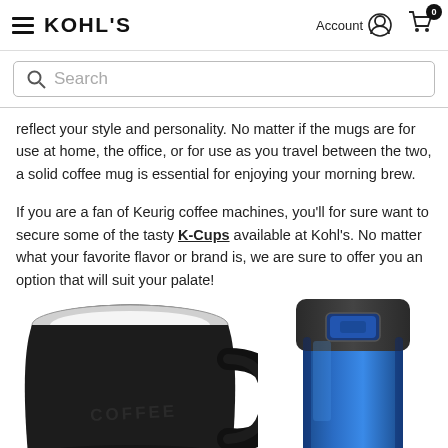KOHL'S — Account — Cart (0)
reflect your style and personality. No matter if the mugs are for use at home, the office, or for use as you travel between the two, a solid coffee mug is essential for enjoying your morning brew.
If you are a fan of Keurig coffee machines, you'll for sure want to secure some of the tasty K-Cups available at Kohl's. No matter what your favorite flavor or brand is, we are sure to offer you an option that will suit your palate!
[Figure (photo): Black ceramic coffee mug with handle and 'COFFEE' text embossed on the side, top-down angled view showing white interior rim.]
[Figure (photo): Blue metallic travel tumbler with dark gray top and a blue accent button/lock mechanism visible at the top.]